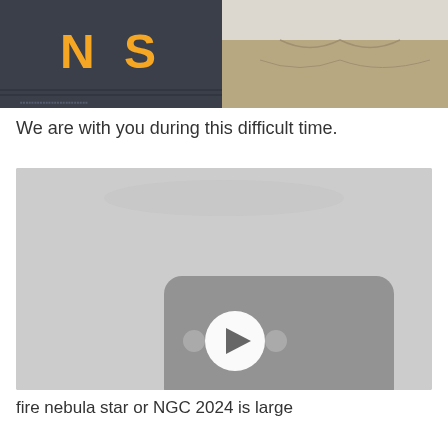[Figure (photo): Partial image showing NPS sign/logo on left and a person wearing khaki/tan clothing on right, cropped at top of page]
We are with you during this difficult time.
[Figure (screenshot): Video thumbnail placeholder with light gray background and a YouTube-style play button icon in the center with two small dots flanking it]
fire nebula star or NGC 2024 is large